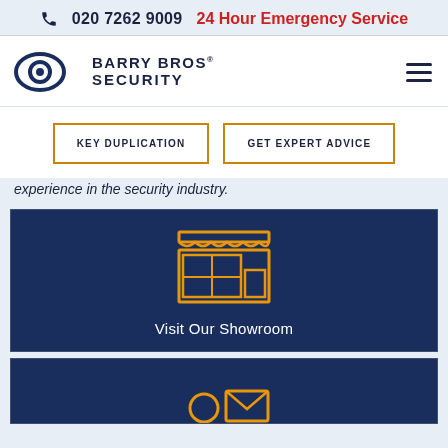📞 020 7262 9009  24 Hour Emergency Service
[Figure (logo): Barry Bros Security logo with eye icon]
KEY DUPLICATION
GET EXPERT ADVICE
experience in the security industry.
[Figure (illustration): Shop/storefront icon in orange outline on dark navy background with text Visit Our Showroom]
Visit Our Showroom
[Figure (illustration): Person with envelope/email icon in orange outline on dark navy background — partially visible]